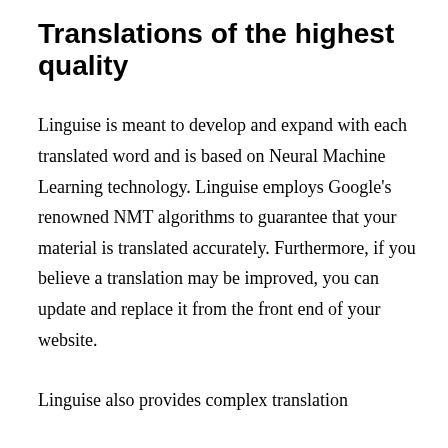Translations of the highest quality
Linguise is meant to develop and expand with each translated word and is based on Neural Machine Learning technology. Linguise employs Google's renowned NMT algorithms to guarantee that your material is translated accurately. Furthermore, if you believe a translation may be improved, you can update and replace it from the front end of your website.
Linguise also provides complex translation